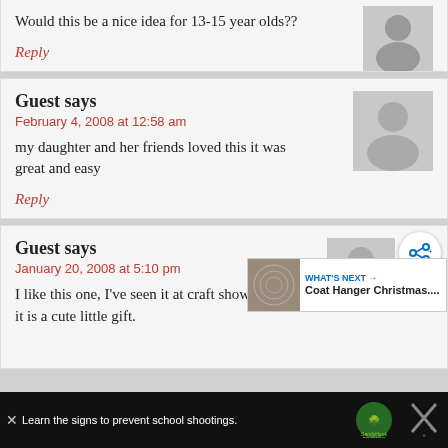Would this be a nice idea for 13-15 year olds??
Reply
Guest says
February 4, 2008 at 12:58 am
my daughter and her friends loved this it was great and easy
Reply
Guest says
January 20, 2008 at 5:10 pm
I like this one, I've seen it at craft shows and . think it is a cute little gift.
WHAT'S NEXT → Coat Hanger Christmas....
Learn the signs to prevent school shootings.